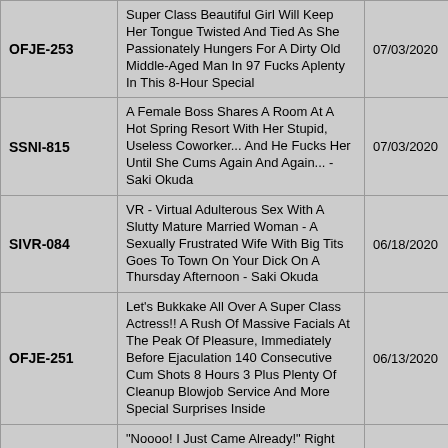| Code | Title | Date |
| --- | --- | --- |
| OFJE-253 | Super Class Beautiful Girl Will Keep Her Tongue Twisted And Tied As She Passionately Hungers For A Dirty Old Middle-Aged Man In 97 Fucks Aplenty In This 8-Hour Special | 07/03/2020 |
| SSNI-815 | A Female Boss Shares A Room At A Hot Spring Resort With Her Stupid, Useless Coworker... And He Fucks Her Until She Cums Again And Again... - Saki Okuda | 07/03/2020 |
| SIVR-084 | VR - Virtual Adulterous Sex With A Slutty Mature Married Woman - A Sexually Frustrated Wife With Big Tits Goes To Town On Your Dick On A Thursday Afternoon - Saki Okuda | 06/18/2020 |
| OFJE-251 | Let's Bukkake All Over A Super Class Actress!! A Rush Of Massive Facials At The Peak Of Pleasure, Immediately Before Ejaculation 140 Consecutive Cum Shots 8 Hours 3 Plus Plenty Of Cleanup Blowjob Service And More Special Surprises Inside | 06/13/2020 |
| OFJE-249 | "Noooo! I Just Came Already!" Right After She Cums, That's The Best Time To Pump Her Ultra Sensual Pussy For Some More! A Furious Cum-Filled Sloppy Seconds Piston-Pumping Rush 103 Consecutive Cum Shots! | 06/05/2020 |
| SSNI-793 | "Why Don't We Relax At This Hotel?" The Night When I Crossed The Line With The Big Tits Receptionist Of My Office, Ms. Okuda, Who Took Me Home While I Was | 06/05/2020 |